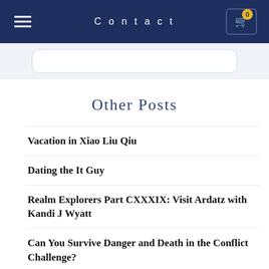Contact
Other Posts
Vacation in Xiao Liu Qiu
Dating the It Guy
Realm Explorers Part CXXXIX: Visit Ardatz with Kandi J Wyatt
Can You Survive Danger and Death in the Conflict Challenge?
Hide it In Your Heart with Thankfulness...